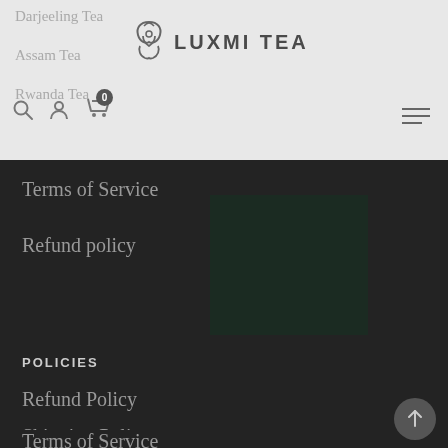LUXMI TEA
Darjeeling Tea
Assam Tea
Rwanda Tea
Terms of Service
Refund policy
POLICIES
Refund Policy
Shipping Policy
Terms of Service